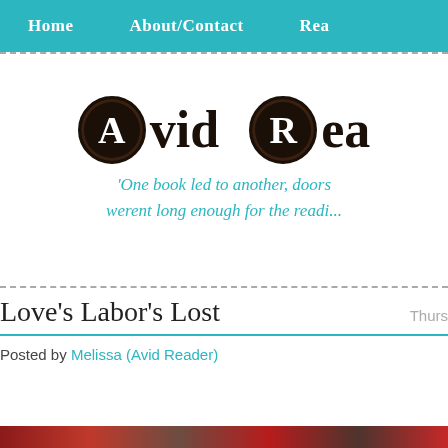Home   About/Contact   Rea...
[Figure (logo): Avid Reader blog logo with two dark circle typewriter-key icons for letters A and R, followed by text 'Avid Rea...' and tagline 'One book led to another, doors werent long enough for the readi...']
Love's Labor's Lost
Posted by Melissa (Avid Reader)